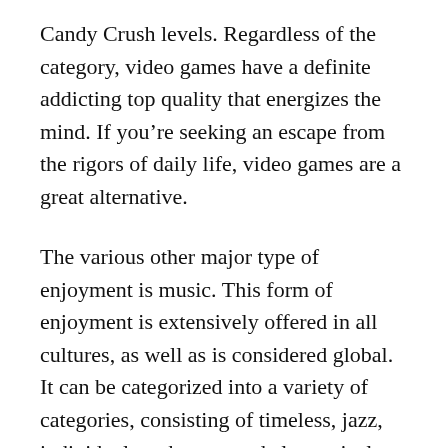Candy Crush levels. Regardless of the category, video games have a definite addicting top quality that energizes the mind. If you're seeking an escape from the rigors of daily life, video games are a great alternative.
The various other major type of enjoyment is music. This form of enjoyment is extensively offered in all cultures, as well as is considered global. It can be categorized into a variety of categories, consisting of timeless, jazz, individual, rock, pop, and also typical songs. Additionally, the show business programs live performances and pre-recorded music for sale. Inevitably, amusement is a wonderful means to involve people and get them to spend time